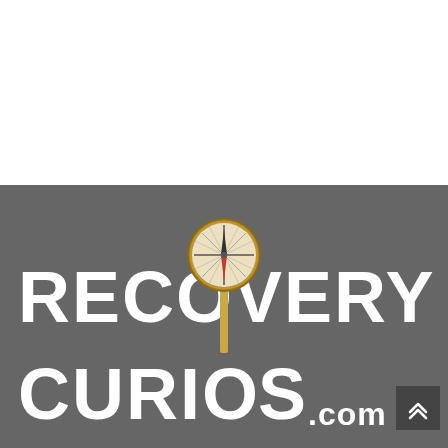[Figure (logo): Recovery Curios logo. Top half white background. Bottom half dark gray background with large bold white text 'RECOVERY' on first line and 'CURIOS.com' on second line. A vintage brass compass/telescope instrument overlaps the text in the center. A small dark box with a double chevron/arrow up icon in the bottom right corner.]